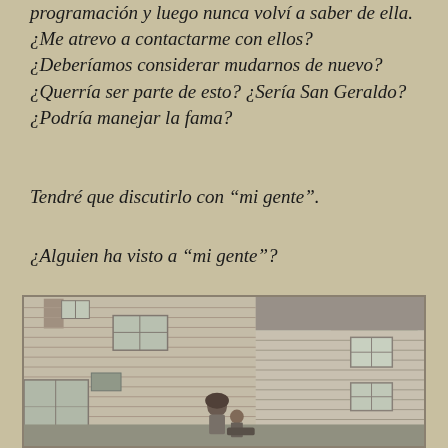programación y luego nunca volví a saber de ella. ¿Me atrevo a contactarme con ellos? ¿Deberíamos considerar mudarnos de nuevo? ¿Querría ser parte de esto? ¿Sería San Geraldo? ¿Podría manejar la fama?
Tendré que discutirlo con “mi gente”.
¿Alguien ha visto a “mi gente”?
[Figure (photo): Black and white photograph of a two-story house with horizontal siding. Two people (a woman and a child) are visible in front of the house. Trees are visible in the background.]